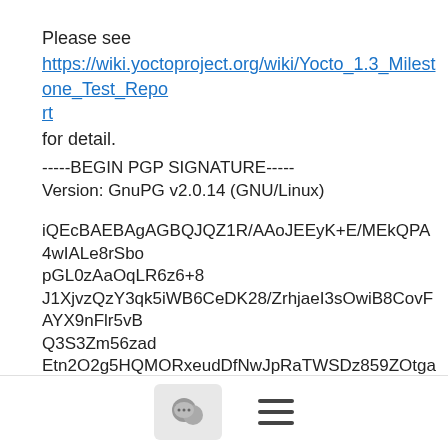Please see
https://wiki.yoctoproject.org/wiki/Yocto_1.3_Milestone_Test_Report
for detail.
-----BEGIN PGP SIGNATURE-----
Version: GnuPG v2.0.14 (GNU/Linux)

iQEcBAEBAgAGBQJQZ1R/AAoJEEyK+E/MEkQPA4wIALe8rSbopGL0zAaOqLR6z6+8
J1XjvzQzY3qk5iWB6CeDK28/ZrhjaeI3sOwiB8CovFAYX9nFlr5vBQ3S3Zm56zad
Etn2O2g5HQMORxeudDfNwJpRaTWSDz859ZOtgaSLDqh15UCmslCAtuYlDhG2lS9L
cGarU9PDNo6vQRuO2KBc7oKnrUQyTscjfx4WhyiHyhYSBYAzXYQno3OXx4eSLYGs
tR+pd60vXuRDfXdHsMOl+dlZxU6ukslvpDF4Z5lyVqKtqrvUzXDXymS7iN5qZvZn
ieGVC0fpGSxKqN6ZGpWeeyH4teUmJj3BdtLwBgkcdLnv0qxideZ
dkalliMzalcLl=